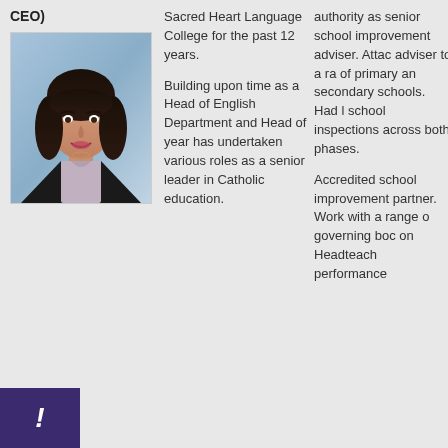CEO)
[Figure (photo): Portrait photo of a woman with dark hair, wearing a black jacket, smiling, against a blue-grey background.]
Sacred Heart Language College for the past 12 years.

Building upon time as a Head of English Department and Head of year has undertaken various roles as a senior leader in Catholic education.
authority as senior school improvement adviser. Attac adviser to a ra of primary an secondary schools. Had l school inspections across both phases.

Accredited school improvement partner. Work with a range o governing boc on Headteach performance